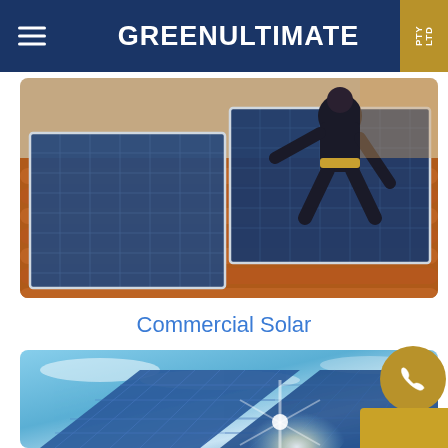GREENULTIMATE PTY LTD
[Figure (photo): Worker installing solar panels on a terracotta tile roof, crouching over blue photovoltaic panels]
Commercial Solar
[Figure (photo): Large commercial solar panels reflecting sunlight with dramatic sky background and light flare]